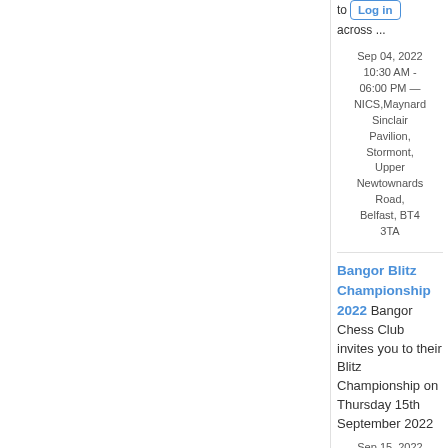to Log in across ...
Sep 04, 2022 10:30 AM - 06:00 PM — NICS,Maynard Sinclair Pavilion, Stormont, Upper Newtownards Road, Belfast, BT4 3TA
Bangor Blitz Championship 2022 Bangor Chess Club invites you to their Blitz Championship on Thursday 15th September 2022
Sep 15, 2022 07:30 PM - 10:00 PM — Church of Ireland Parish Hall, 30 Main Street, Groomsport, Co Down